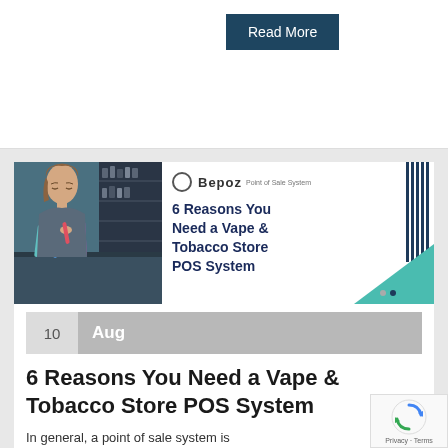Read More
[Figure (illustration): Bepoz branded blog article thumbnail showing a woman at a vape/tobacco store counter on the left, and on the right a Bepoz logo with the text '6 Reasons You Need a Vape & Tobacco Store POS System', decorative navy vertical bars and a teal diagonal graphic]
10  Aug
6 Reasons You Need a Vape & Tobacco Store POS System
In general, a point of sale system is